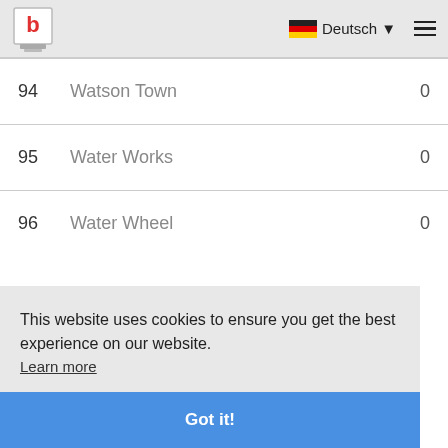b | Deutsch | menu
| # | Name | Value |
| --- | --- | --- |
| 94 | Watson Town | 0 |
| 95 | Water Works | 0 |
| 96 | Water Wheel | 0 |
This website uses cookies to ensure you get the best experience on our website. Learn more
Got it!